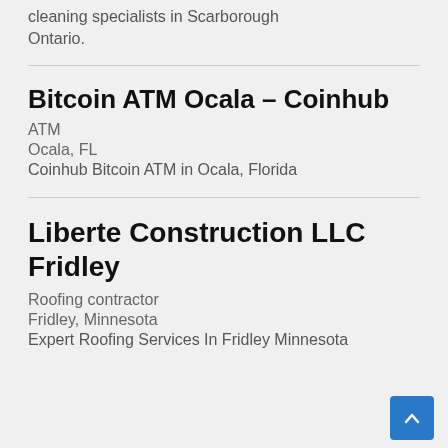cleaning specialists in Scarborough Ontario.
Bitcoin ATM Ocala – Coinhub
ATM
Ocala, FL
Coinhub Bitcoin ATM in Ocala, Florida
Liberte Construction LLC Fridley
Roofing contractor
Fridley, Minnesota
Expert Roofing Services In Fridley Minnesota